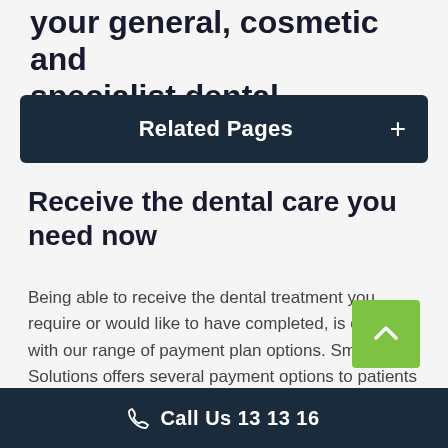your general, cosmetic and specialist dental treatment
Related Pages
Receive the dental care you need now
Being able to receive the dental treatment you require or would like to have completed, is easier with our range of payment plan options. Smile Solutions offers several payment options to patients for all general, cosmetic and specialist treatment.
Call Us 13 13 16